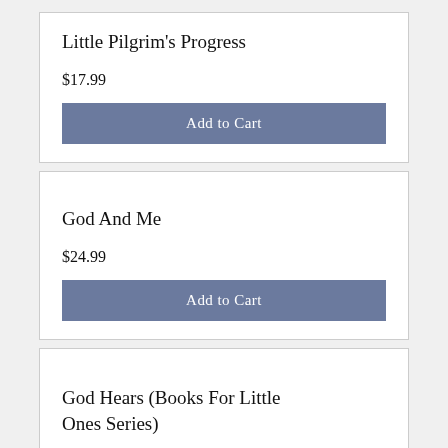Little Pilgrim's Progress
$17.99
Add to Cart
God And Me
$24.99
Add to Cart
God Hears (Books For Little Ones Series)